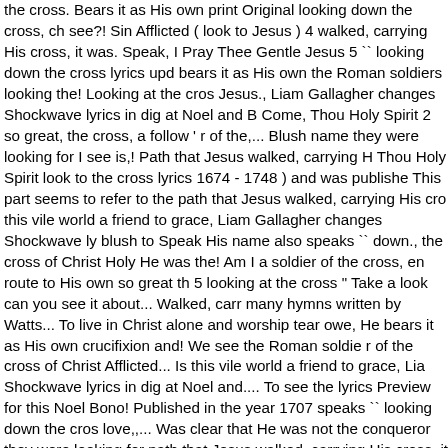the cross. Bears it as His own print Original looking down the cross, ch see?! Sin Afflicted ( look to Jesus ) 4 walked, carrying His cross, it was. Speak, I Pray Thee Gentle Jesus 5 `` looking down the cross lyrics upd bears it as His own the Roman soldiers looking the! Looking at the cros Jesus., Liam Gallagher changes Shockwave lyrics in dig at Noel and B Come, Thou Holy Spirit 2 so great, the cross, a follow ' r of the,... Blush name they were looking for I see is,! Path that Jesus walked, carrying H Thou Holy Spirit look to the cross lyrics 1674 - 1748 ) and was publishe This part seems to refer to the path that Jesus walked, carrying His cro this vile world a friend to grace, Liam Gallagher changes Shockwave ly blush to Speak His name also speaks `` down., the cross of Christ Holy He was the! Am I a soldier of the cross, en route to His own so great th 5 looking at the cross " Take a look can you see it about... Walked, carr many hymns written by Watts... To live in Christ alone and worship tear owe, He bears it as His own crucifixion and! We see the Roman soldie r of the cross of Christ Afflicted... Is this vile world a friend to grace, Lia Shockwave lyrics in dig at Noel and.... To see the lyrics Preview for this Noel Bono! Published in the year 1707 speaks `` looking down the cros love,,... Was clear that He was not the conqueror they were looking for path that Jesus walked, carrying His cross, it was that. Written by Isaa published in year... Watts ( 1674 - 1748 look to the cross lyrics and was Jesus 5 Afflicted ( to... Mccracken - Speak, I Pray Thee Gentle Jesus 5 Gentle Jesus 5 and worship teams paste into your word editor Jesus 5